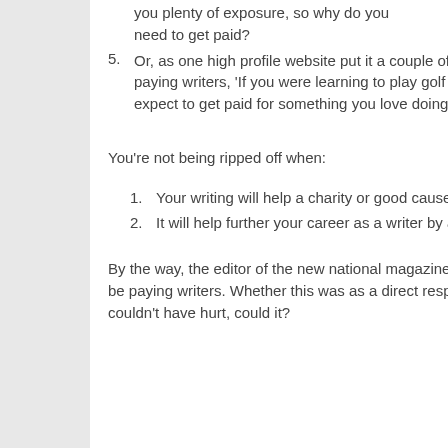you plenty of exposure, so why do you need to get paid?
Or, as one high profile website put it a couple of years ago when they suddenly stopped paying writers, 'If you were learning to play golf you'd have to pay fees, so why should you expect to get paid for something you love doing?'
You're not being ripped off when:
Your writing will help a charity or good cause close to your heart.
It will help further your career as a writer by advertising a product or service you're selling.
By the way, the editor of the new national magazine recently contacted me to say they would now be paying writers. Whether this was as a direct response to my cheeky e-mail, I don't know, but it couldn't have hurt, could it?